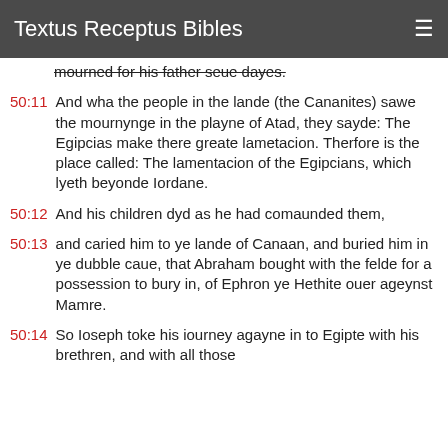Textus Receptus Bibles
mourned for his father seue dayes.
50:11 And wha the people in the lande (the Cananites) sawe the mournynge in the playne of Atad, they sayde: The Egipcias make there greate lametacion. Therfore is the place called: The lamentacion of the Egipcians, which lyeth beyonde Iordane.
50:12 And his children dyd as he had comaunded them,
50:13 and caried him to ye lande of Canaan, and buried him in ye dubble caue, that Abraham bought with the felde for a possession to bury in, of Ephron ye Hethite ouer ageynst Mamre.
50:14 So Ioseph toke his iourney agayne in to Egipte with his brethren, and with all those